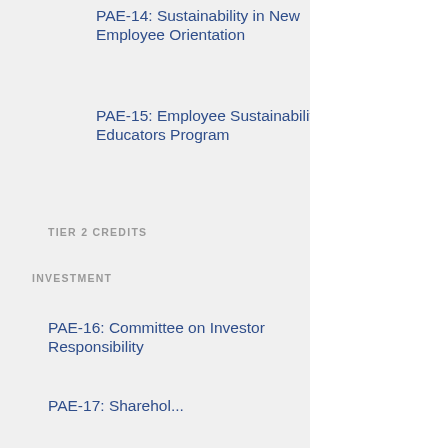PAE-14: Sustainability in New Employee Orientation
PAE-15: Employee Sustainability Educators Program
TIER 2 CREDITS
PAE-T2-4: Childcare
PAE-T2-5: Employee Wellness Program
PAE-T2-6: Socially Responsible Retirement Plan
INVESTMENT
PAE-16: Committee on Investor Responsibility
PAE-17: Shareholder...